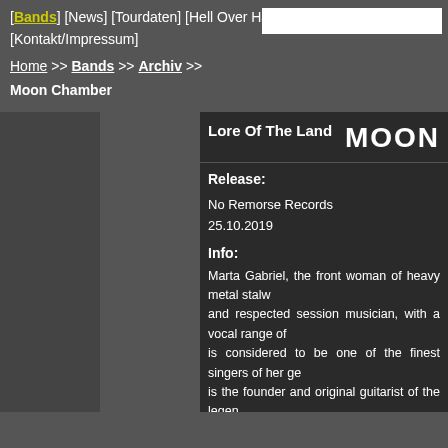[Bands] [News] [Tourdaten] [Hell Over Hammaburg] [Kontakt/Impressum]
Home >> Bands >> Archiv >> Moon Chamber
Lore Of The Land    MOON
Release:
No Remorse Records
25.10.2019
Info:
Marta Gabriel, the front woman of heavy metal stalw and respected session musician, with a vocal range of is considered to be one of the finest singers of her ge is the founder and original guitarist of the legen SARACEN - as the composer of albums such "Redemption", and most notably "Heroes Saints And respected contributor to the history of classic rock. So if those two were to join forces, and combine their ob The answer is MOON CHAMBER. The quintet's de Of The Land" will be released in October 25th